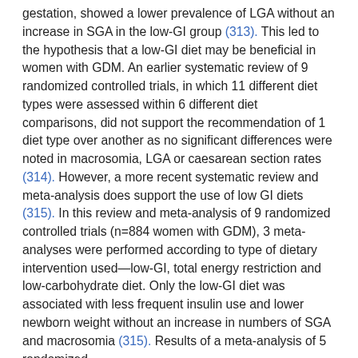gestation, showed a lower prevalence of LGA without an increase in SGA in the low-GI group (313). This led to the hypothesis that a low-GI diet may be beneficial in women with GDM. An earlier systematic review of 9 randomized controlled trials, in which 11 different diet types were assessed within 6 different diet comparisons, did not support the recommendation of 1 diet type over another as no significant differences were noted in macrosomia, LGA or caesarean section rates (314). However, a more recent systematic review and meta-analysis does support the use of low GI diets (315). In this review and meta-analysis of 9 randomized controlled trials (n=884 women with GDM), 3 meta-analyses were performed according to type of dietary intervention used—low-GI, total energy restriction and low-carbohydrate diet. Only the low-GI diet was associated with less frequent insulin use and lower newborn weight without an increase in numbers of SGA and macrosomia (315). Results of a meta-analysis of 5 randomized